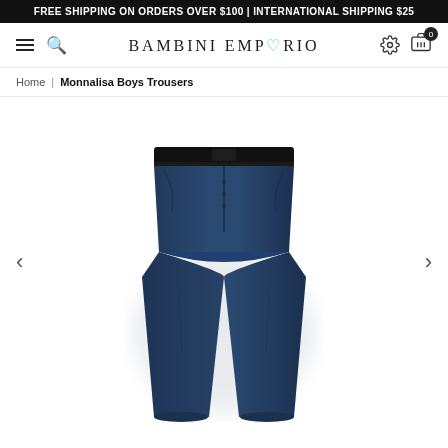FREE SHIPPING ON ORDERS OVER $100 | INTERNATIONAL SHIPPING $25
BAMBINI EMPORIO
Home | Monnalisa Boys Trousers
[Figure (photo): Monnalisa Boys Trousers — dark navy blue slim-fit trousers for boys, shown front-on with a blurred background. Black waistband with a thin belt detail.]